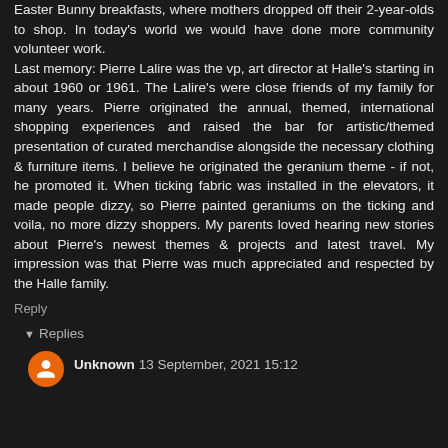Easter Bunny breakfasts, where mothers dropped off their 2-year-olds to shop. In today's world we would have done more community volunteer work. Last memory: Pierre Lalire was the vp, art director at Halle's starting in about 1960 or 1961. The Lalire's were close friends of my family for many years. Pierre originated the annual, themed, international shopping experiences and raised the bar for artistic/themed presentation of curated merchandise alongside the necessary clothing & furniture items. I believe he originated the geranium theme - if not, he promoted it. When ticking fabric was installed in the elevators, it made people dizzy, so Pierre painted geraniums on the ticking and voila, no more dizzy shoppers. My parents loved hearing new stories about Pierre's newest themes & projects and latest travel. My impression was that Pierre was much appreciated and respected by the Halle family.
Reply
Replies
Unknown 13 September, 2021 15:12